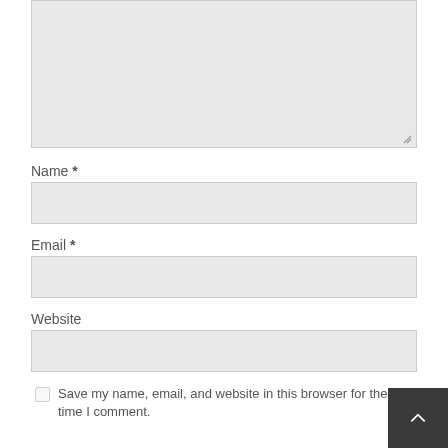[Figure (screenshot): Empty textarea input box with resize handle at bottom-right corner, light gray background]
Name *
[Figure (screenshot): Empty text input box for Name field, light gray background]
Email *
[Figure (screenshot): Empty text input box for Email field, light gray background]
Website
[Figure (screenshot): Empty text input box for Website field, light gray background]
Save my name, email, and website in this browser for the next time I comment.
[Figure (screenshot): Back to top button - dark gray square with upward chevron arrow in white]